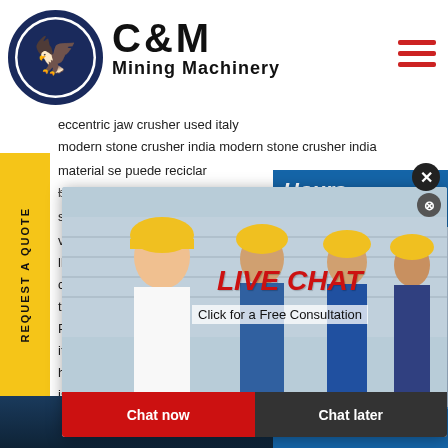[Figure (logo): C&M Mining Machinery logo with eagle gear icon in dark blue circle]
eccentric jaw crusher used italy
modern stone crusher india modern stone crusher india
material se puede reciclar
best limestone quarries in usa
stone mob...
veyor Belt b...
ll flat die p...
crusher en...
tion coal e...
Place To M...
ite mill for sale
her used machinery hammer
istruksi mesin exsavator
[Figure (screenshot): Live chat popup overlay with workers in hard hats, LIVE CHAT heading in red italic, Click for a Free Consultation text, Chat now and Chat later buttons]
[Figure (screenshot): Right side chat widget showing Hours Online text in blue, woman with headset, Click to Chat button]
REQUEST A QUOTE
Enquiry